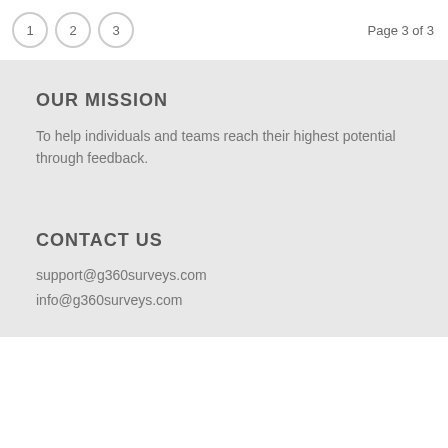Page 3 of 3
OUR MISSION
To help individuals and teams reach their highest potential through feedback.
CONTACT US
support@g360surveys.com
info@g360surveys.com